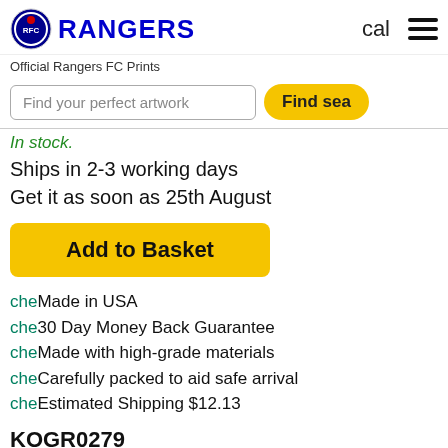[Figure (logo): Rangers FC official logo with circular badge and RANGERS text in blue]
cal
Official Rangers FC Prints
Find your perfect artwork
Find sea
In stock.
Ships in 2-3 working days
Get it as soon as 25th August
Add to Basket
cheMade in USA
che30 Day Money Back Guarantee
cheMade with high-grade materials
cheCarefully packed to aid safe arrival
cheEstimated Shipping $12.13
KOGR0279
Media ID 18083315